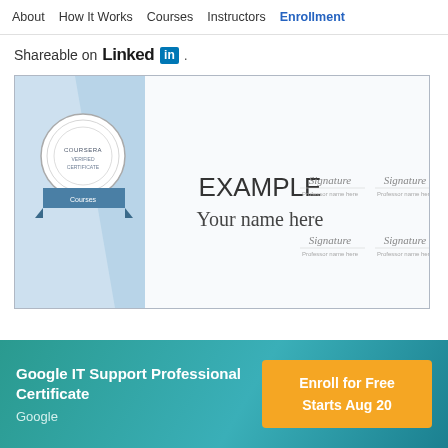About  How It Works  Courses  Instructors  Enrollment
Shareable on LinkedIn
[Figure (illustration): Example Coursera certificate showing 'EXAMPLE Your name here' with signature fields and Coursera badge/logo on the left side]
Google IT Support Professional Certificate
Google
Enroll for Free
Starts Aug 20